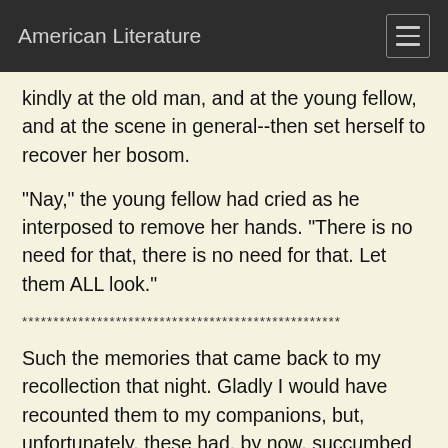American Literature
kindly at the old man, and at the young fellow, and at the scene in general--then set herself to recover her bosom.
"Nay," the young fellow had cried as he interposed to remove her hands. "There is no need for that, there is no need for that. Let them ALL look."
***************************************************
Such the memories that came back to my recollection that night. Gladly I would have recounted them to my companions, but, unfortunately, these had, by now, succumbed to slumber. The ex- soldier, resting in a sitting posture,